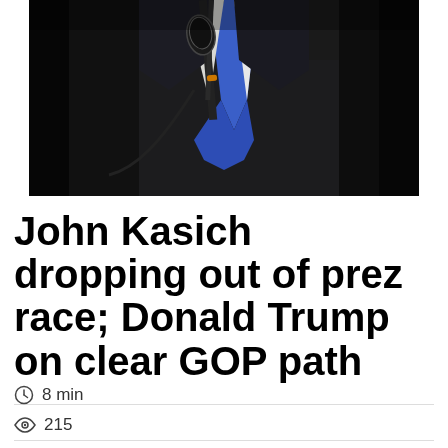[Figure (photo): Close-up photo of a man in a dark suit with a blue tie, standing at a microphone. The background is dark.]
John Kasich dropping out of prez race; Donald Trump on clear GOP path
8 min
215